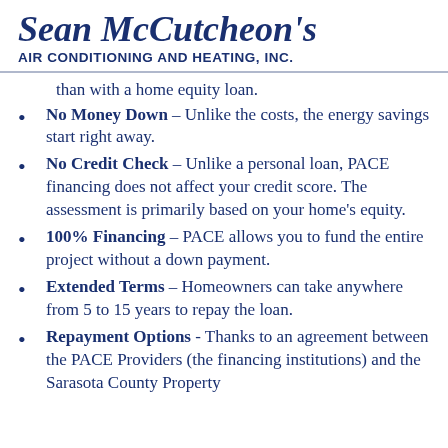Sean McCutcheon's Air Conditioning and Heating, Inc.
than with a home equity loan.
No Money Down – Unlike the costs, the energy savings start right away.
No Credit Check – Unlike a personal loan, PACE financing does not affect your credit score. The assessment is primarily based on your home's equity.
100% Financing – PACE allows you to fund the entire project without a down payment.
Extended Terms – Homeowners can take anywhere from 5 to 15 years to repay the loan.
Repayment Options - Thanks to an agreement between the PACE Providers (the financing institutions) and the Sarasota County Property